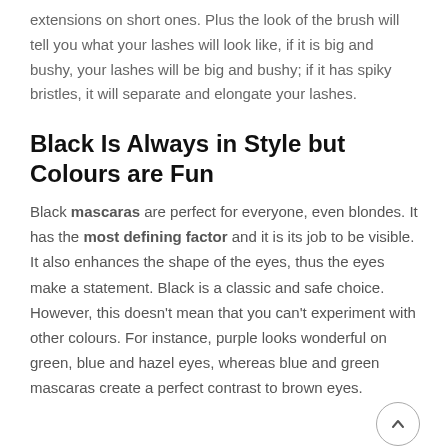extensions on short ones. Plus the look of the brush will tell you what your lashes will look like, if it is big and bushy, your lashes will be big and bushy; if it has spiky bristles, it will separate and elongate your lashes.
Black Is Always in Style but Colours are Fun
Black mascaras are perfect for everyone, even blondes. It has the most defining factor and it is its job to be visible. It also enhances the shape of the eyes, thus the eyes make a statement. Black is a classic and safe choice. However, this doesn't mean that you can't experiment with other colours. For instance, purple looks wonderful on green, blue and hazel eyes, whereas blue and green mascaras create a perfect contrast to brown eyes.